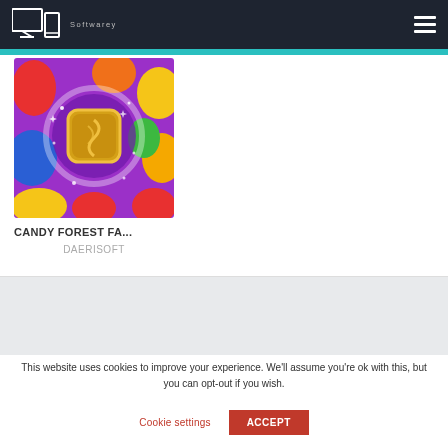Softwarey — navigation header with logo and hamburger menu
[Figure (screenshot): Candy Forest fantasy match-3 game app icon showing colorful candy pieces on purple background with a golden coin in center]
CANDY FOREST FA...
DAERISOFT
This website uses cookies to improve your experience. We'll assume you're ok with this, but you can opt-out if you wish.
Cookie settings
ACCEPT